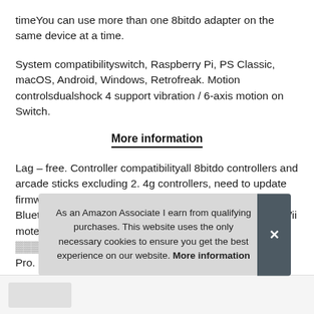timeYou can use more than one 8bitdo adapter on the same device at a time.
System compatibilityswitch, Raspberry Pi, PS Classic, macOS, Android, Windows, Retrofreak. Motion controlsdualshock 4 support vibration / 6-axis motion on Switch.
More information
Lag – free. Controller compatibilityall 8bitdo controllers and arcade sticks excluding 2. 4g controllers, need to update firmware, wii u pro, switch joy-cons, xbox one S/X Bluetooth controller excluding xbox one controller, ps3, Wii mote, Switch Pro, ... Pro.
As an Amazon Associate I earn from qualifying purchases. This website uses the only necessary cookies to ensure you get the best experience on our website. More information